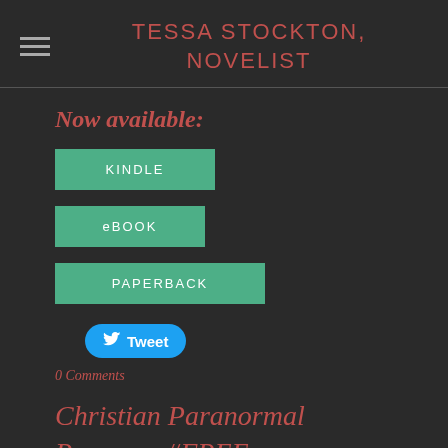TESSA STOCKTON, NOVELIST
Now available:
KINDLE
eBOOK
PAPERBACK
[Figure (other): Tweet button with Twitter bird icon]
0 Comments
Christian Paranormal Romance #FREE